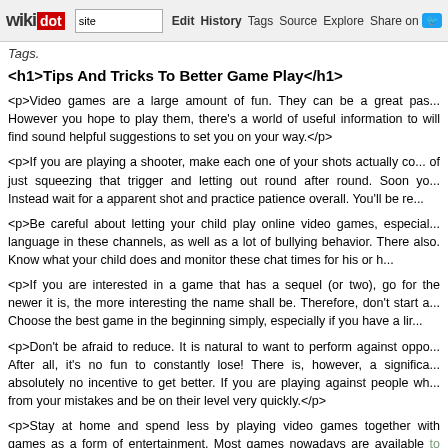wikidot | site | Edit | History | Tags | Source | Explore | Share on [Twitter]
Tags.
<h1>Tips And Tricks To Better Game Play</h1>
<p>Video games are a large amount of fun. They can be a great pas... However you hope to play them, there's a world of useful information to will find sound helpful suggestions to set you on your way.</p>
<p>If you are playing a shooter, make each one of your shots actually co... of just squeezing that trigger and letting out round after round. Soon yo... Instead wait for a apparent shot and practice patience overall. You'll be re...</p>
<p>Be careful about letting your child play online video games, especial... language in these channels, as well as a lot of bullying behavior. There also. Know what your child does and monitor these chat times for his or h...</p>
<p>If you are interested in a game that has a sequel (or two), go for the newer it is, the more interesting the name shall be. Therefore, don't start a... Choose the best game in the beginning simply, especially if you have a lir...</p>
<p>Don't be afraid to reduce. It is natural to want to perform against oppo... After all, it's no fun to constantly lose! There is, however, a significa... absolutely no incentive to get better. If you are playing against people wh... from your mistakes and be on their level very quickly.</p>
<p>Stay at home and spend less by playing video games together with games as a form of entertainment. Most games nowadays are available to Learn about Immediately's Gaming Expertise can chat with friends a... expenses by staying home and playing games.</p>